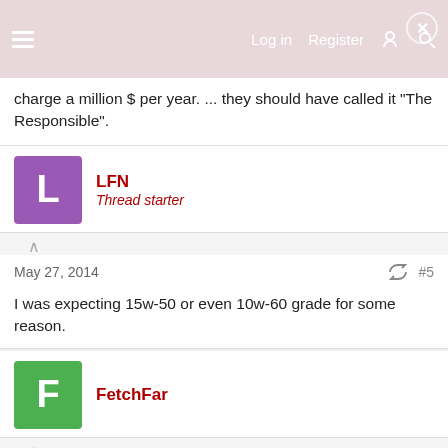Log in | Register
charge a million $ per year. ... they should have called it "The Responsible".
LFN
Thread starter
May 27, 2014  #5
I was expecting 15w-50 or even 10w-60 grade for some reason.
FetchFar
May 27, 2014  #6
Of course, this isn't really news since the Chrysler MS-12633 spec Pennzoil Ultra 0w-40 is already in new Vipers as factory fill. Its also running in Helio Castroneves's Indycar, which got